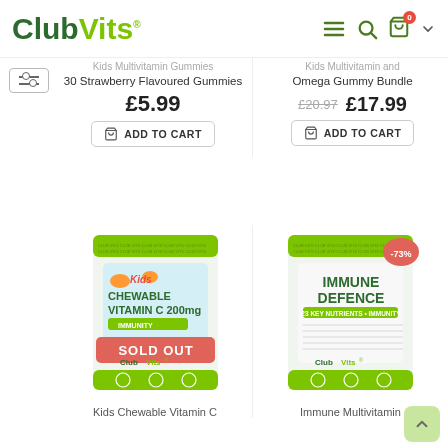[Figure (logo): ClubVits logo with dark green 'Club' and lime green 'Vits' text]
Kids Multivitamin Gummies 30 Strawberry Flavoured Gummies
£5.99
ADD TO CART
Kids Multivitamin and Omega Gummy Bundle
£20.97  £17.99
ADD TO CART
[Figure (photo): Kids Chewable Vitamin C 200mg supplement pouch with SOLD OUT banner overlay]
[Figure (photo): Immune Defence supplement pouch with -73% discount badge]
Kids Chewable Vitamin C
Immune Multivitamin